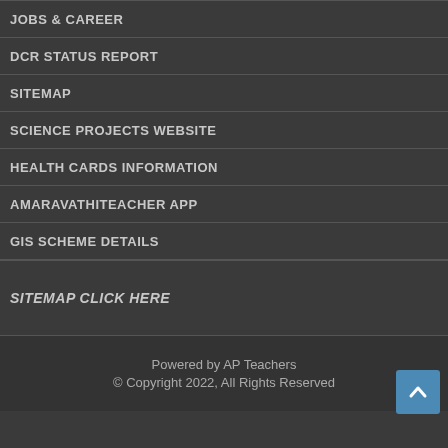JOBS & CAREER
DCR STATUS REPORT
SITEMAP
SCIENCE PROJECTS WEBSITE
HEALTH CARDS INFORMATION
AMARAVATHITEACHER APP
GIS SCHEME DETAILS
SITEMAP CLICK HERE
Powered by AP Teachers
© Copyright 2022, All Rights Reserved